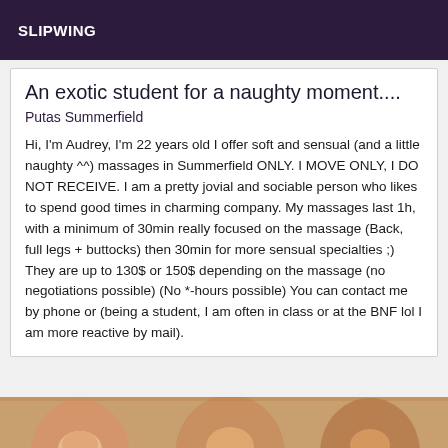SLIPWING
An exotic student for a naughty moment....
Putas Summerfield
Hi, I'm Audrey, I'm 22 years old I offer soft and sensual (and a little naughty ^^) massages in Summerfield ONLY. I MOVE ONLY, I DO NOT RECEIVE. I am a pretty jovial and sociable person who likes to spend good times in charming company. My massages last 1h, with a minimum of 30min really focused on the massage (Back, full legs + buttocks) then 30min for more sensual specialties ;) They are up to 130$ or 150$ depending on the massage (no negotiations possible) (No *-hours possible) You can contact me by phone or (being a student, I am often in class or at the BNF lol I am more reactive by mail).
[Figure (photo): Partial view of faces/persons at the bottom of the page]